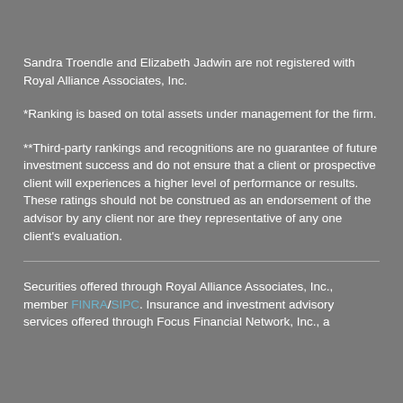Sandra Troendle and Elizabeth Jadwin are not registered with Royal Alliance Associates, Inc.
*Ranking is based on total assets under management for the firm.
**Third-party rankings and recognitions are no guarantee of future investment success and do not ensure that a client or prospective client will experiences a higher level of performance or results. These ratings should not be construed as an endorsement of the advisor by any client nor are they representative of any one client's evaluation.
Securities offered through Royal Alliance Associates, Inc., member FINRA/SIPC. Insurance and investment advisory services offered through Focus Financial Network, Inc., a